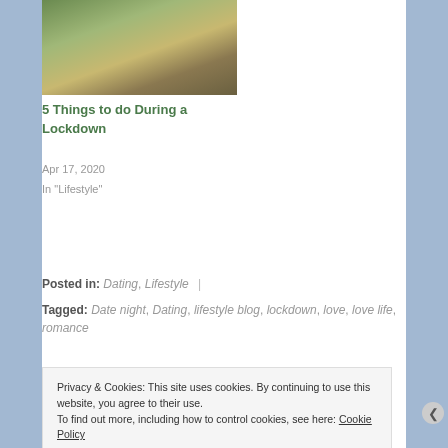[Figure (photo): Outdoor covered structure/gazebo with wooden fencing, trees in background]
5 Things to do During a Lockdown
Apr 17, 2020
In "Lifestyle"
Posted in: Dating, Lifestyle   |
Tagged: Date night, Dating, lifestyle blog, lockdown, love, love life, romance
Privacy & Cookies: This site uses cookies. By continuing to use this website, you agree to their use.
To find out more, including how to control cookies, see here: Cookie Policy